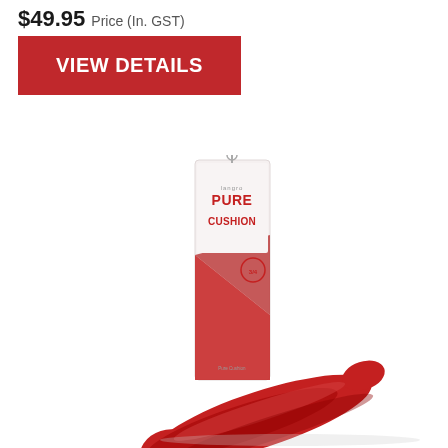$49.95 Price (In. GST)
VIEW DETAILS
[Figure (photo): Product photo of Langer Pure Cushion insole shown with its packaging. The packaging is a white and red tall rectangular sleeve with 'PURE CUSHION' text. A red insole is laid out diagonally in front of the packaging.]